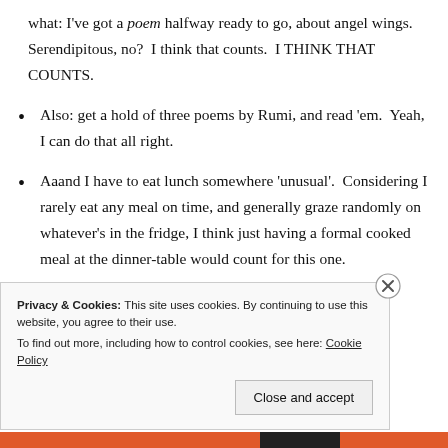what: I've got a poem halfway ready to go, about angel wings.  Serendipitous, no?  I think that counts.  I THINK THAT COUNTS.
Also: get a hold of three poems by Rumi, and read 'em.  Yeah, I can do that all right.
Aaand I have to eat lunch somewhere 'unusual'.  Considering I rarely eat any meal on time, and generally graze randomly on whatever's in the fridge, I think just having a formal cooked meal at the dinner-table would count for this one.
Privacy & Cookies: This site uses cookies. By continuing to use this website, you agree to their use.
To find out more, including how to control cookies, see here: Cookie Policy
Close and accept